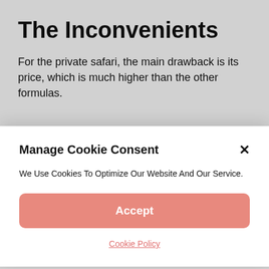The Inconvenients
For the private safari, the main drawback is its price, which is much higher than the other formulas.
Manage Cookie Consent
We Use Cookies To Optimize Our Website And Our Service.
Accept
Cookie Policy
Also pay attention to safety. “The problem is that people cannot interpret the language of animals. Many also believe they are in a zoo and get out of their vehicle. There are deaths every year because people have not respected the instructions, and were eaten by